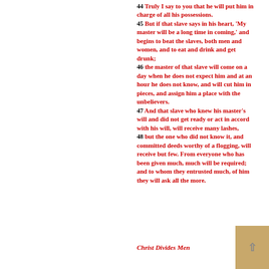44 Truly I say to you that he will put him in charge of all his possessions. 45 But if that slave says in his heart, 'My master will be a long time in coming,' and begins to beat the slaves, both men and women, and to eat and drink and get drunk; 46 the master of that slave will come on a day when he does not expect him and at an hour he does not know, and will cut him in pieces, and assign him a place with the unbelievers. 47 And that slave who knew his master's will and did not get ready or act in accord with his will, will receive many lashes, 48 but the one who did not know it, and committed deeds worthy of a flogging, will receive but few. From everyone who has been given much, much will be required; and to whom they entrusted much, of him they will ask all the more.
Christ Divides Men